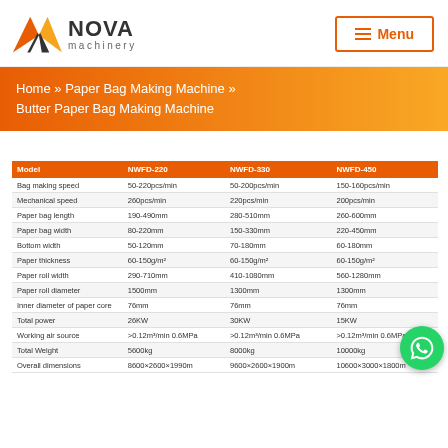NOVA machinery — Menu
Home » Paper Bag Making Machine » Butter Paper Bag Making Machine
| Model | NWFD-220 | NWFD-330 | NWFD-450 |
| --- | --- | --- | --- |
| Bag making speed | 50-220pcs/min | 50-200pcs/min | 150-160pcs/min |
| Mechanical speed | 260pcs/min | 220pcs/min | 200pcs/min |
| Paper bag length | 190-490mm | 280-510mm | 260-600mm |
| Paper bag width | 80-220mm | 150-330mm | 220-450mm |
| Bottom width | 50-120mm | 70-180mm | 60-180mm |
| Paper thickness | 60-150g/m² | 60-150g/m² | 60-150g/m² |
| Paper roll width | 290-710mm | 410-1080mm | 560-1280mm |
| Paper roll diameter | 1500mm | 1300mm | 1300mm |
| Inner diameter of paper core | 76mm | 76mm | 76mm |
| Total power | 26KW | 30KW | 15KW |
| Working air source | >0.12m³/min 0.6MPa | >0.12m³/min 0.6MPa | >0.12m³/min 0.6MPa |
| Total Weight | 5600kg | 8000kg | 10000kg |
| Overall dimensions | 8600×2600×1990m | 9600×2600×1900m | 10600×3000×1800m |